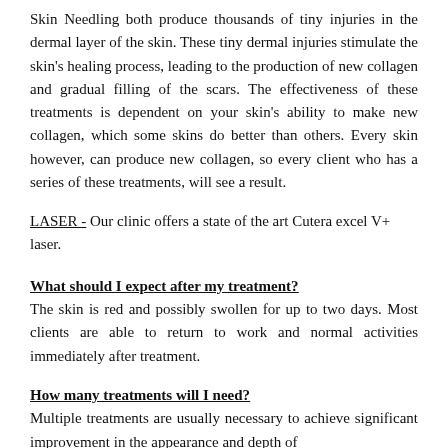Skin Needling both produce thousands of tiny injuries in the dermal layer of the skin. These tiny dermal injuries stimulate the skin's healing process, leading to the production of new collagen and gradual filling of the scars. The effectiveness of these treatments is dependent on your skin's ability to make new collagen, which some skins do better than others. Every skin however, can produce new collagen, so every client who has a series of these treatments, will see a result.
LASER - Our clinic offers a state of the art Cutera excel V+ laser.
What should I expect after my treatment?
The skin is red and possibly swollen for up to two days. Most clients are able to return to work and normal activities immediately after treatment.
How many treatments will I need?
Multiple treatments are usually necessary to achieve significant improvement in the appearance and depth of